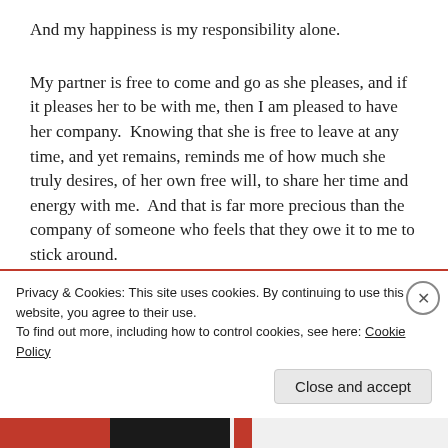And my happiness is my responsibility alone.
My partner is free to come and go as she pleases, and if it pleases her to be with me, then I am pleased to have her company.  Knowing that she is free to leave at any time, and yet remains, reminds me of how much she truly desires, of her own free will, to share her time and energy with me.  And that is far more precious than the company of someone who feels that they owe it to me to stick around.
I don't want to be owed.  Love is not a business.  What I
Privacy & Cookies: This site uses cookies. By continuing to use this website, you agree to their use.
To find out more, including how to control cookies, see here: Cookie Policy
Close and accept